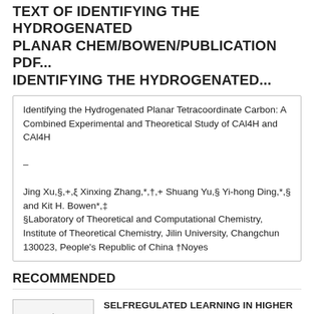TEXT OF IDENTIFYING THE HYDROGENATED PLANAR CHEM/BOWEN/PUBLICATION PDF... IDENTIFYING THE HYDROGENATED...
Identifying the Hydrogenated Planar Tetracoordinate Carbon: A Combined Experimental and Theoretical Study of CAl4H and CAl4H
–
Jing Xu,§,+,ξ Xinxing Zhang,*,†,+ Shuang Yu,§ Yi-hong Ding,*,§ and Kit H. Bowen*,‡
§Laboratory of Theoretical and Computational Chemistry, Institute of Theoretical Chemistry, Jilin University, Changchun 130023, People's Republic of China †Noyes
RECOMMENDED
[Figure (other): Loading spinner thumbnail image placeholder]
SELFREGULATED LEARNING IN HIGHER ...
DOCUMENTS
[Figure (other): Loading spinner thumbnail image placeholder]
IDENTIFYING AND USING RESOURCES